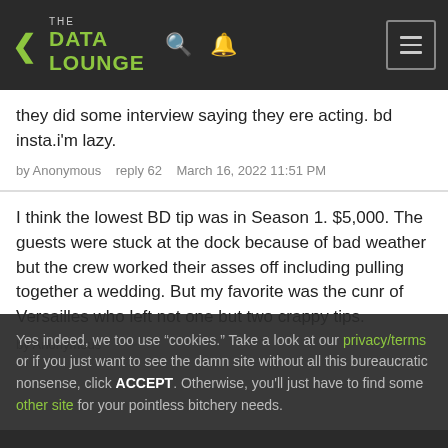THE DATA LOUNGE
they did some interview saying they ere acting. bd insta.i'm lazy.
by Anonymous   reply 62   March 16, 2022 11:51 PM
I think the lowest BD tip was in Season 1. $5,000. The guests were stuck at the dock because of bad weather but the crew worked their asses off including pulling together a wedding. But my favorite was the cunr of Versailles who left not one but two crappy tips.
by Anonymous
Yes indeed, we too use "cookies." Take a look at our privacy/terms or if you just want to see the damn site without all this bureaucratic nonsense, click ACCEPT. Otherwise, you'll just have to find some other site for your pointless bitchery needs.
REPLY   UNREAD